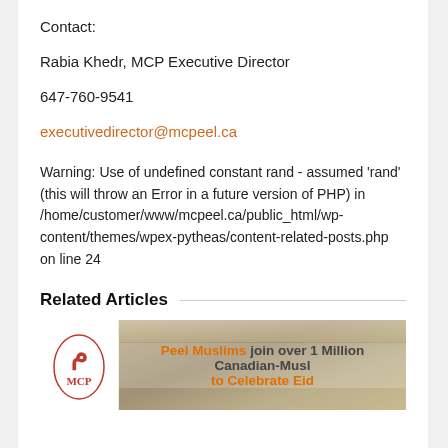Contact:
Rabia Khedr, MCP Executive Director
647-760-9541
executivedirector@mcpeel.ca
Warning: Use of undefined constant rand - assumed 'rand' (this will throw an Error in a future version of PHP) in /home/customer/www/mcpeel.ca/public_html/wp-content/themes/wpex-pytheas/content-related-posts.php on line 24
Related Articles
[Figure (photo): Article image showing interior of a large hall with ceiling lights, with MCP logo on the left and text overlay reading 'Peel Muslims join over 1 Million Canadian-Muslims to Celebrate Eid']